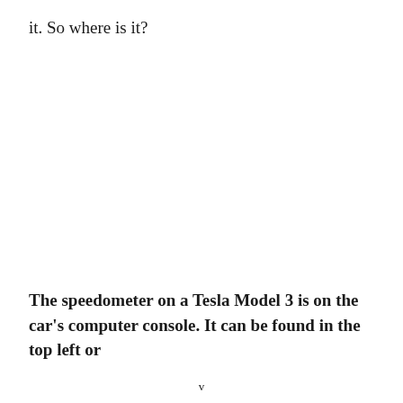it. So where is it?
The speedometer on a Tesla Model 3 is on the car's computer console. It can be found in the top left or
v